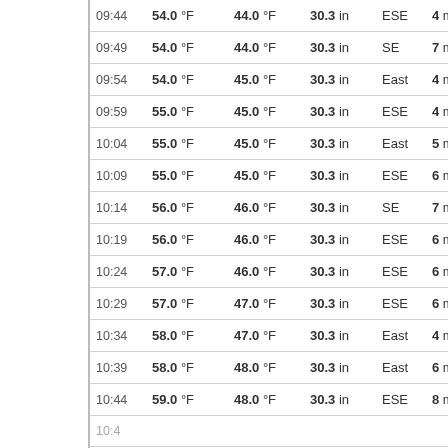| Time | Temp | Dew Point | Pressure | Wind Dir | Wind Speed |
| --- | --- | --- | --- | --- | --- |
| 09:44 | 54.0 °F | 44.0 °F | 30.3 in | ESE | 4 mph |
| 09:49 | 54.0 °F | 44.0 °F | 30.3 in | SE | 7 mph |
| 09:54 | 54.0 °F | 45.0 °F | 30.3 in | East | 4 mph |
| 09:59 | 55.0 °F | 45.0 °F | 30.3 in | ESE | 4 mph |
| 10:04 | 55.0 °F | 45.0 °F | 30.3 in | East | 5 mph |
| 10:09 | 55.0 °F | 45.0 °F | 30.3 in | ESE | 6 mph |
| 10:14 | 56.0 °F | 46.0 °F | 30.3 in | SE | 7 mph |
| 10:19 | 56.0 °F | 46.0 °F | 30.3 in | ESE | 6 mph |
| 10:24 | 57.0 °F | 46.0 °F | 30.3 in | ESE | 6 mph |
| 10:29 | 57.0 °F | 47.0 °F | 30.3 in | ESE | 6 mph |
| 10:34 | 58.0 °F | 47.0 °F | 30.3 in | East | 4 mph |
| 10:39 | 58.0 °F | 48.0 °F | 30.3 in | East | 6 mph |
| 10:44 | 59.0 °F | 48.0 °F | 30.3 in | ESE | 8 mph |